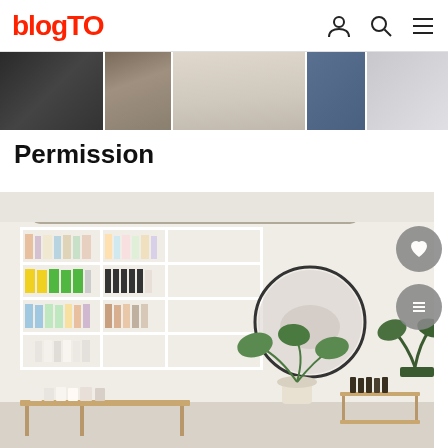blogTO
[Figure (photo): Horizontal strip of thumbnail photos showing interior views of a clothing/retail store, partially visible at top of page]
Permission
[Figure (photo): Interior of a minimalist beauty/wellness retail store called Permission, showing white shelving units filled with skincare and beauty products, a round mirror on the wall, a potted plant, and wooden display tables with products]